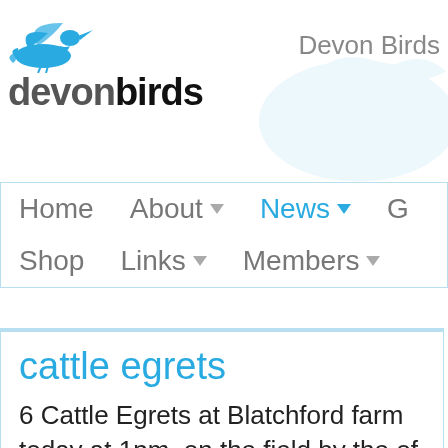[Figure (logo): Devon Birds logo with blue heron/egret bird icon above the text 'devonbirds' in dark bold sans-serif, and 'Devon Birds' text in grey top right]
Devon Birds
Home
About ▾
News ▾
G
Shop
Links ▾
Members ▾
cattle egrets
6 Cattle Egrets at Blatchford farm today at 1pm, on the field by the of after 10 mins to the south.